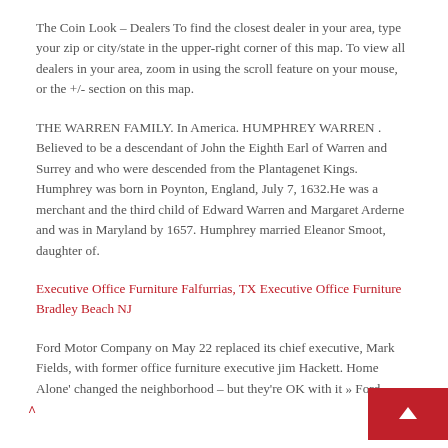The Coin Look – Dealers To find the closest dealer in your area, type your zip or city/state in the upper-right corner of this map. To view all dealers in your area, zoom in using the scroll feature on your mouse, or the +/- section on this map.
THE WARREN FAMILY. In America. HUMPHREY WARREN . Believed to be a descendant of John the Eighth Earl of Warren and Surrey and who were descended from the Plantagenet Kings. Humphrey was born in Poynton, England, July 7, 1632.He was a merchant and the third child of Edward Warren and Margaret Arderne and was in Maryland by 1657. Humphrey married Eleanor Smoot, daughter of.
Executive Office Furniture Falfurrias, TX Executive Office Furniture Bradley Beach NJ
Ford Motor Company on May 22 replaced its chief executive, Mark Fields, with former office furniture executive jim Hackett. Home Alone' changed the neighborhood – but they're OK with it » Ford.